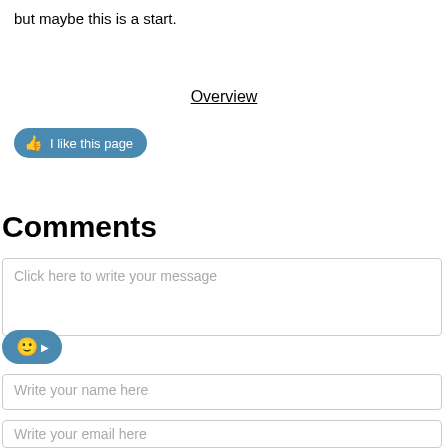but maybe this is a start.
Overview
[Figure (other): A blue pill-shaped 'I like this page' button with a thumbs-up icon]
Comments
Click here to write your message
[Figure (other): A blue rounded emoji/smiley button with a right arrow]
Write your name here
Write your email here